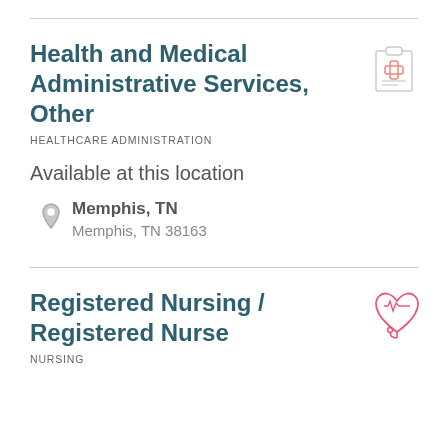Health and Medical Administrative Services, Other
HEALTHCARE ADMINISTRATION
Available at this location
Memphis, TN
Memphis, TN 38163
Registered Nursing / Registered Nurse
NURSING